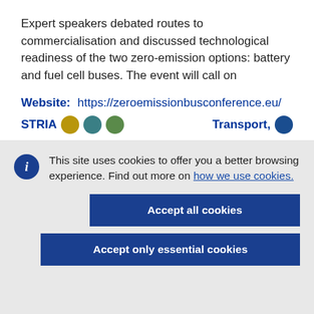Expert speakers debated routes to commercialisation and discussed technological readiness of the two zero-emission options: battery and fuel cell buses. The event will call on
Website:   https://zeroemissionbusconference.eu/
STRIA   Transport,
This site uses cookies to offer you a better browsing experience. Find out more on how we use cookies.
Accept all cookies
Accept only essential cookies